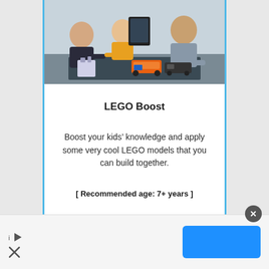[Figure (photo): Children and an adult sitting around a table working with LEGO Boost robotic models. One child holds a tablet, others are interacting with LEGO robot/vehicle models on a dark surface.]
LEGO Boost
Boost your kids’ knowledge and apply some very cool LEGO models that you can build together.
[ Recommended age: 7+ years ]
[Figure (infographic): Ad banner at the bottom with play and close icons on the left and a blue button on the right. A circular close/X button appears at the top right of the banner.]